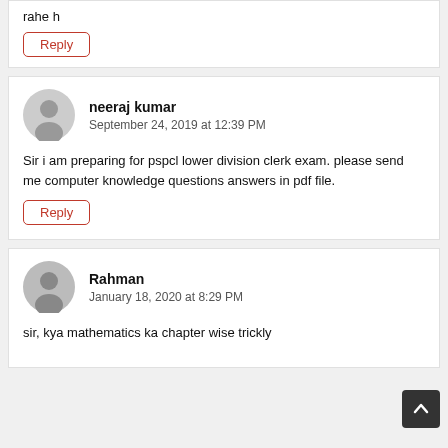rahe h
Reply
neeraj kumar
September 24, 2019 at 12:39 PM
Sir i am preparing for pspcl lower division clerk exam. please send me computer knowledge questions answers in pdf file.
Reply
Rahman
January 18, 2020 at 8:29 PM
sir, kya mathematics ka chapter wise trickly